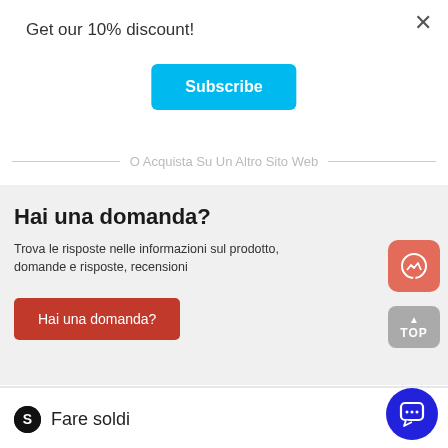Get our 10% discount!
Subscribe
O Acquista Su Un Altro Sito Web
Hai una domanda?
Trova le risposte nelle informazioni sul prodotto, domande e risposte, recensioni
Hai una domanda?
TOP
Fare soldi